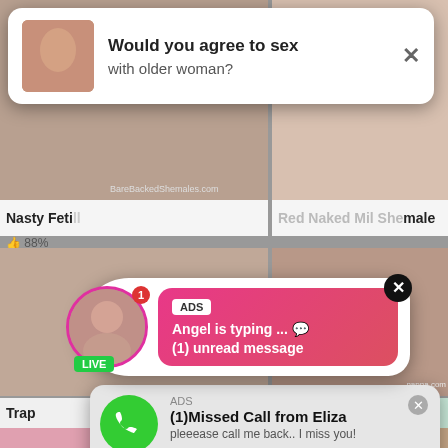[Figure (screenshot): Background: adult video thumbnail grid with blurred content. Two columns of video thumbnails visible.]
[Figure (screenshot): Top popup ad: white rounded card with thumbnail image on left, text 'Would you agree to sex with older woman?' and X close button.]
Would you agree to sex with older woman?
[Figure (screenshot): Middle popup ad: live chat notification with avatar, LIVE badge, ADS label, text 'Angel is typing ... (1) unread message' on pink-red gradient bubble.]
ADS
Angel is typing ... 💬
(1) unread message
[Figure (screenshot): Bottom popup ad: missed call notification. Green phone icon, ADS label, text '(1)Missed Call from Eliza', 'pleeease call me back.. I miss you!', audio player with time 0:00 to 3:23 and playback controls.]
ADS
(1)Missed Call from Eliza
pleeease call me back.. I miss you!
0:00                                                3:23
Nasty Feti...
88%
Trap...
85%
DateRam.com